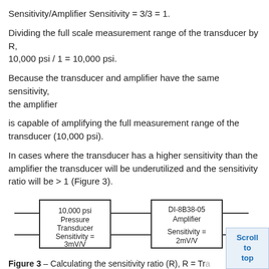Sensitivity/Amplifier Sensitivity = 3/3 = 1.
Dividing the full scale measurement range of the transducer by R, 10,000 psi / 1 = 10,000 psi.
Because the transducer and amplifier have the same sensitivity, the amplifier
is capable of amplifying the full measurement range of the transducer (10,000 psi).
In cases where the transducer has a higher sensitivity than the amplifier the transducer will be underutilized and the sensitivity ratio will be > 1 (Figure 3).
[Figure (engineering-diagram): Block diagram showing a 10,000 psi Pressure Transducer with Sensitivity = 3mV/V connected via lines to a DI-8B38-05 Amplifier with Sensitivity = 2mV/V]
Figure 3 – Calculating the sensitivity ratio (R), R = Tra...